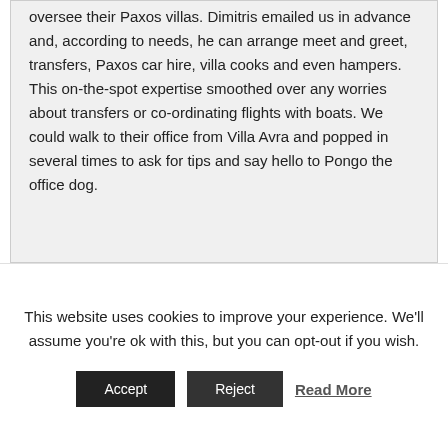oversee their Paxos villas. Dimitris emailed us in advance and, according to needs, he can arrange meet and greet, transfers, Paxos car hire, villa cooks and even hampers. This on-the-spot expertise smoothed over any worries about transfers or co-ordinating flights with boats. We could walk to their office from Villa Avra and popped in several times to ask for tips and say hello to Pongo the office dog.
This website uses cookies to improve your experience. We'll assume you're ok with this, but you can opt-out if you wish.
Accept | Reject | Read More